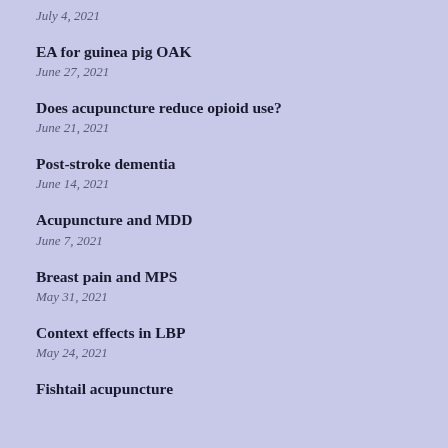July 4, 2021
EA for guinea pig OAK
June 27, 2021
Does acupuncture reduce opioid use?
June 21, 2021
Post-stroke dementia
June 14, 2021
Acupuncture and MDD
June 7, 2021
Breast pain and MPS
May 31, 2021
Context effects in LBP
May 24, 2021
Fishtail acupuncture